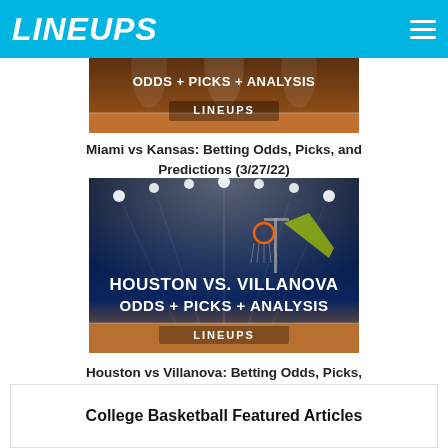LINEUPS
[Figure (screenshot): Miami vs Kansas basketball betting odds image with 'ODDS + PICKS + ANALYSIS' and 'LINEUPS' text overlay on basketball court background]
Miami vs Kansas: Betting Odds, Picks, and Predictions (3/27/22)
[Figure (screenshot): Houston vs Villanova basketball arena image with 'HOUSTON VS. VILLANOVA ODDS + PICKS + ANALYSIS' and 'LINEUPS' text overlay]
Houston vs Villanova: Betting Odds, Picks, and Predictions (3/26/22)
College Basketball Featured Articles